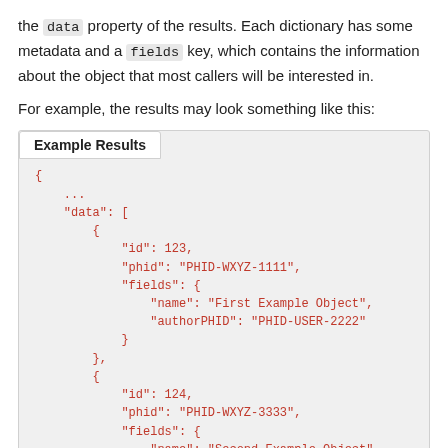the data property of the results. Each dictionary has some metadata and a fields key, which contains the information about the object that most callers will be interested in.
For example, the results may look something like this:
[Figure (screenshot): Code block titled 'Example Results' showing a JSON structure with two objects in a data array. First object has id: 123, phid: PHID-WXYZ-1111, fields with name: First Example Object and authorPHID: PHID-USER-2222. Second object has id: 124, phid: PHID-WXYZ-3333, fields with name: Second Example Object and authorPHID: PHID-USER-4444.]